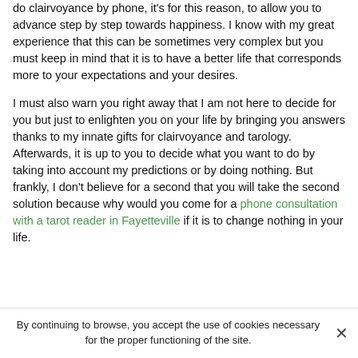do clairvoyance by phone, it's for this reason, to allow you to advance step by step towards happiness. I know with my great experience that this can be sometimes very complex but you must keep in mind that it is to have a better life that corresponds more to your expectations and your desires.
I must also warn you right away that I am not here to decide for you but just to enlighten you on your life by bringing you answers thanks to my innate gifts for clairvoyance and tarology. Afterwards, it is up to you to decide what you want to do by taking into account my predictions or by doing nothing. But frankly, I don't believe for a second that you will take the second solution because why would you come for a phone consultation with a tarot reader in Fayetteville if it is to change nothing in your life.
By continuing to browse, you accept the use of cookies necessary for the proper functioning of the site.